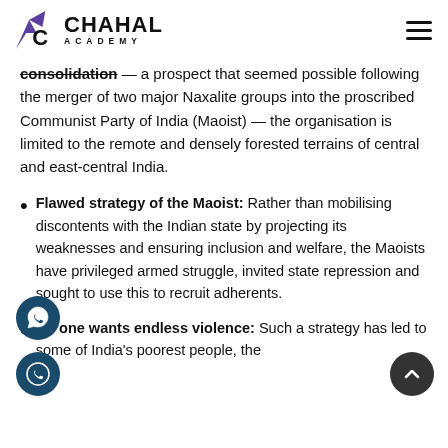Chahal Academy
consolidation — a prospect that seemed possible following the merger of two major Naxalite groups into the proscribed Communist Party of India (Maoist) — the organisation is limited to the remote and densely forested terrains of central and east-central India.
Flawed strategy of the Maoist: Rather than mobilising discontents with the Indian state by projecting its weaknesses and ensuring inclusion and welfare, the Maoists have privileged armed struggle, invited state repression and sought to use this to recruit adherents.
No one wants endless violence: Such a strategy has led to some of India's poorest people, the